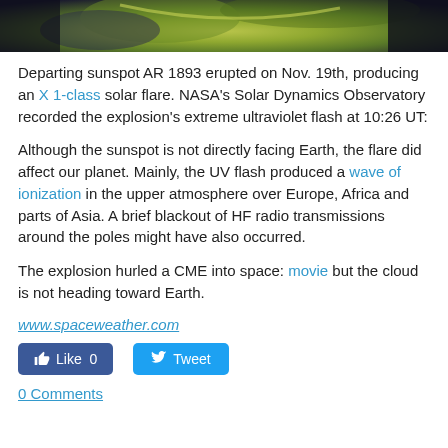[Figure (photo): Partial view of a solar image showing green/yellow solar surface with dark background, cropped at top of page]
Departing sunspot AR1893 erupted on Nov. 19th, producing an X1-class solar flare. NASA's Solar Dynamics Observatory recorded the explosion's extreme ultraviolet flash at 10:26 UT:
Although the sunspot is not directly facing Earth, the flare did affect our planet. Mainly, the UV flash produced a wave of ionization in the upper atmosphere over Europe, Africa and parts of Asia. A brief blackout of HF radio transmissions around the poles might have also occurred.
The explosion hurled a CME into space: movie but the cloud is not heading toward Earth.
www.spaceweather.com
Like 0   Tweet
0 Comments